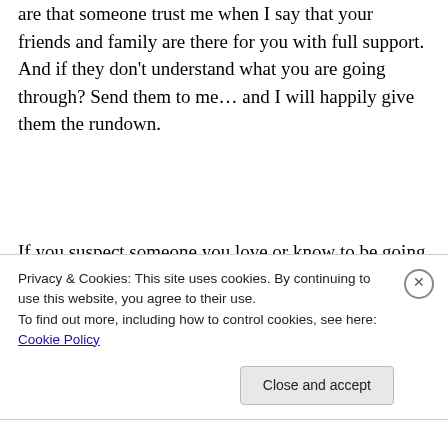are that someone trust me when I say that your friends and family are there for you with full support. And if they don't understand what you are going through? Send them to me… and I will happily give them the rundown.
If you suspect someone you love or know to be going through this, be very careful with your approach. They will have to want to be healthy above anything else, but to be
Privacy & Cookies: This site uses cookies. By continuing to use this website, you agree to their use.
To find out more, including how to control cookies, see here: Cookie Policy